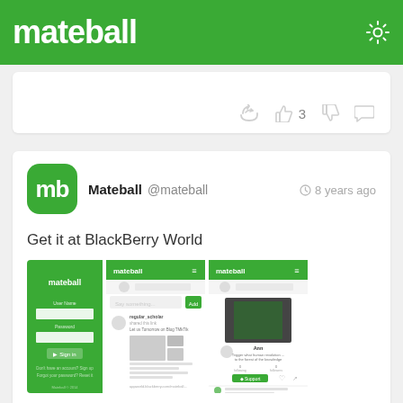mateball
[Figure (screenshot): Partial post card showing action icons: share, thumbs up with count 3, thumbs down, comment]
[Figure (screenshot): Mateball app social post: avatar with 'mb', username Mateball @mateball, 8 years ago, post text 'Get it at BlackBerry World', three app screenshots showing login screen and feed, description text 'Simple app will deliver latest news and content on your BlackBerry10 smartphone', link appworld.blackberry.com]